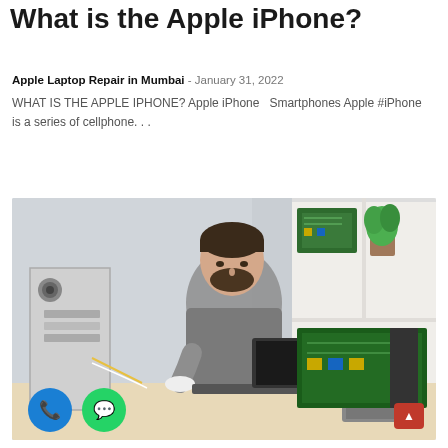What is the Apple iPhone?
Apple Laptop Repair in Mumbai - January 31, 2022
WHAT IS THE APPLE IPHONE? Apple iPhone  Smartphones Apple #iPhone is a series of cellphone...
Read more
[Figure (photo): A man wearing gloves working on a laptop and open desktop computer tower, with computer motherboards visible on shelves behind him. Phone and WhatsApp floating action buttons visible in lower left corner.]